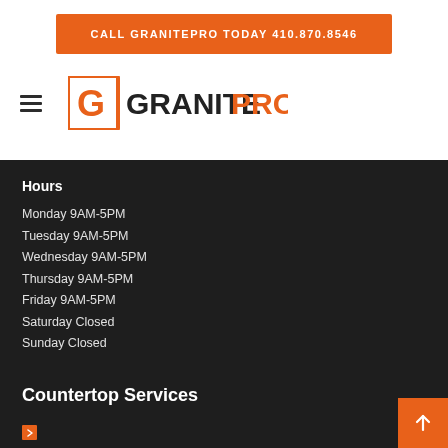CALL GRANITEPRO TODAY 410.870.8546
[Figure (logo): GranitePro logo with orange bracketed G icon and GRANITEPRO wordmark in dark and orange text]
Hours
Monday 9AM-5PM
Tuesday 9AM-5PM
Wednesday 9AM-5PM
Thursday 9AM-5PM
Friday 9AM-5PM
Saturday Closed
Sunday Closed
Countertop Services